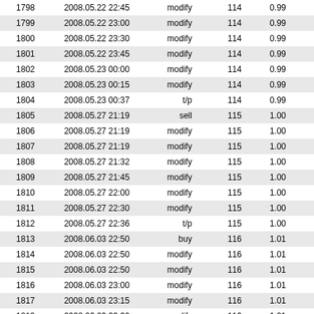| # | Date/Time | Action | Trade# | Lot |
| --- | --- | --- | --- | --- |
| 1798 | 2008.05.22 22:45 | modify | 114 | 0.99 |
| 1799 | 2008.05.22 23:00 | modify | 114 | 0.99 |
| 1800 | 2008.05.22 23:30 | modify | 114 | 0.99 |
| 1801 | 2008.05.22 23:45 | modify | 114 | 0.99 |
| 1802 | 2008.05.23 00:00 | modify | 114 | 0.99 |
| 1803 | 2008.05.23 00:15 | modify | 114 | 0.99 |
| 1804 | 2008.05.23 00:37 | t/p | 114 | 0.99 |
| 1805 | 2008.05.27 21:19 | sell | 115 | 1.00 |
| 1806 | 2008.05.27 21:19 | modify | 115 | 1.00 |
| 1807 | 2008.05.27 21:19 | modify | 115 | 1.00 |
| 1808 | 2008.05.27 21:32 | modify | 115 | 1.00 |
| 1809 | 2008.05.27 21:45 | modify | 115 | 1.00 |
| 1810 | 2008.05.27 22:00 | modify | 115 | 1.00 |
| 1811 | 2008.05.27 22:30 | modify | 115 | 1.00 |
| 1812 | 2008.05.27 22:36 | t/p | 115 | 1.00 |
| 1813 | 2008.06.03 22:50 | buy | 116 | 1.01 |
| 1814 | 2008.06.03 22:50 | modify | 116 | 1.01 |
| 1815 | 2008.06.03 22:50 | modify | 116 | 1.01 |
| 1816 | 2008.06.03 23:00 | modify | 116 | 1.01 |
| 1817 | 2008.06.03 23:15 | modify | 116 | 1.01 |
| 1818 | 2008.06.03 23:30 | modify | 116 | 1.01 |
| 1819 | 2008.06.03 23:45 | modify | 116 | 1.01 |
| 1820 | 2008.06.04 00:00 | modify | 116 | 1.01 |